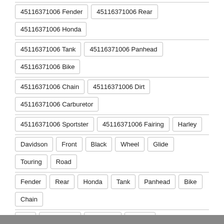45116371006 Fender, 45116371006 Rear, 45116371006 Honda
45116371006 Tank, 45116371006 Panhead, 45116371006 Bike
45116371006 Chain, 45116371006 Dirt, 45116371006 Carburetor
45116371006 Sportster, 45116371006 Fairing, Harley
Davidson, Front, Black, Wheel, Glide, Touring, Road
Fender, Rear, Honda, Tank, Panhead, Bike, Chain
Dirt, Carburetor, Sportster, Fairing